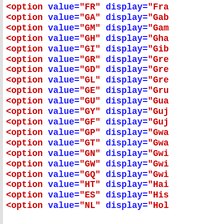<option value="FR" display="Fra...
<option value="GA" display="Gab...
<option value="GM" display="Gam...
<option value="GH" display="Gha...
<option value="GI" display="Gib...
<option value="GR" display="Gre...
<option value="GD" display="Gre...
<option value="GL" display="Gre...
<option value="GE" display="Gru...
<option value="GU" display="Gua...
<option value="GY" display="Guj...
<option value="GF" display="Guj...
<option value="GP" display="Gwa...
<option value="GT" display="Gwa...
<option value="GN" display="Gwi...
<option value="GW" display="Gwi...
<option value="GQ" display="Gwi...
<option value="HT" display="Hai...
<option value="ES" display="His...
<option value="NL" display="Hol...